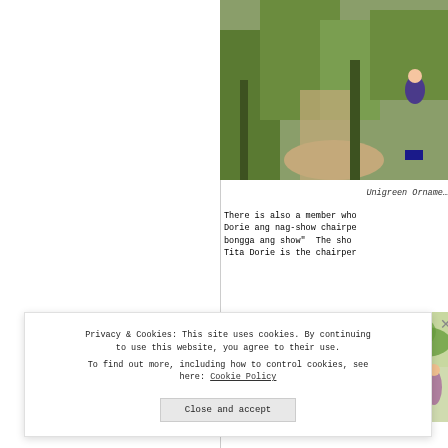[Figure (photo): Outdoor path through garden/nature area with trees and vegetation, person visible in background]
Unigreen Orname…
There is also a member who Dorie ang nag-show chairpe bongga ang show" The sho Tita Dorie is the chairper
[Figure (photo): Outdoor scene with large tree and bright foliage/sky]
Privacy & Cookies: This site uses cookies. By continuing to use this website, you agree to their use. To find out more, including how to control cookies, see here: Cookie Policy
Close and accept